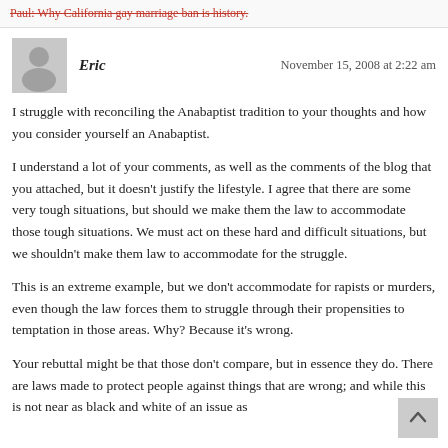Paul: Why California gay marriage ban is history.
Eric
November 15, 2008 at 2:22 am
I struggle with reconciling the Anabaptist tradition to your thoughts and how you consider yourself an Anabaptist.
I understand a lot of your comments, as well as the comments of the blog that you attached, but it doesn't justify the lifestyle. I agree that there are some very tough situations, but should we make them the law to accommodate those tough situations. We must act on these hard and difficult situations, but we shouldn't make them law to accommodate for the struggle.
This is an extreme example, but we don't accommodate for rapists or murders, even though the law forces them to struggle through their propensities to temptation in those areas. Why? Because it's wrong.
Your rebuttal might be that those don't compare, but in essence they do. There are laws made to protect people against things that are wrong; and while this is not near as black and white of an issue as